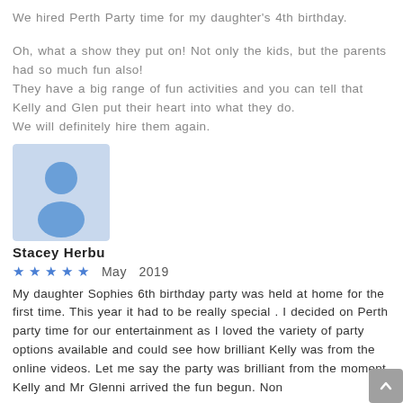We hired Perth Party time for my daughter's 4th birthday.
Oh, what a show they put on! Not only the kids, but the parents had so much fun also! They have a big range of fun activities and you can tell that Kelly and Glen put their heart into what they do.
We will definitely hire them again.
[Figure (illustration): Generic user avatar icon — a blue silhouette of a person (head and shoulders) on a light blue square background]
Stacey Herbu
★★★★★  May  2019
My daughter Sophies 6th birthday party was held at home for the first time. This year it had to be really special . I decided on Perth party time for our entertainment as I loved the variety of party options available and could see how brilliant Kelly was from the online videos. Let me say the party was brilliant from the moment Kelly and Mr Glenni arrived the fun begun. Non